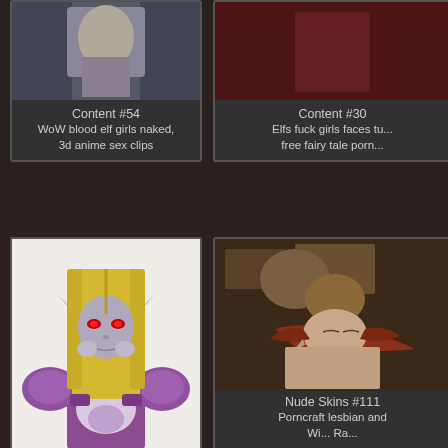[Figure (illustration): Top left card showing partial image of a figure with dark background, labeled Content #54]
Content #54
WoW blood elf girls naked, 3d anime sex clips
[Figure (illustration): Top right card showing partial image with red/dark background, labeled Content #30]
Content #30
Elfs fuck girls faces tu...
free fairy tale porn...
[Figure (illustration): Bottom left card showing 3D rendered female elf character with blonde hair, glowing red eyes, purple armor]
[Figure (illustration): Bottom right card showing 3D rendered scene with figures, labeled Nude Skins #111]
Nude Skins #111
Porncraft lesbian and
Wi... Ra...